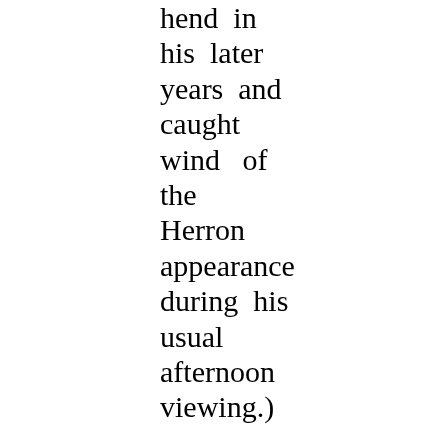hend in his later years and caught wind of the Herron appearance during his usual afternoon viewing.) So if you are a Hammett fan, or a fan of great literature